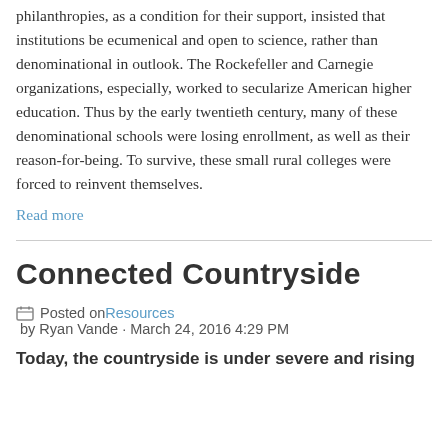philanthropies, as a condition for their support, insisted that institutions be ecumenical and open to science, rather than denominational in outlook. The Rockefeller and Carnegie organizations, especially, worked to secularize American higher education. Thus by the early twentieth century, many of these denominational schools were losing enrollment, as well as their reason-for-being. To survive, these small rural colleges were forced to reinvent themselves.
Read more
Connected Countryside
Posted on Resources by Ryan Vande · March 24, 2016 4:29 PM
Today, the countryside is under severe and rising